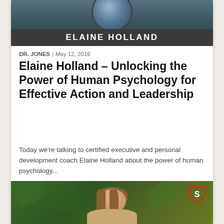[Figure (photo): Top profile photo area of Elaine Holland with dark circular portrait at top and dark grey name banner reading ELAINE HOLLAND]
ELAINE HOLLAND
DR. JONES | May 12, 2016
Elaine Holland – Unlocking the Power of Human Psychology for Effective Action and Leadership
Today we're talking to certified executive and personal development coach Elaine Holland about the power of human psychology...
[Figure (photo): Photo of Elaine Holland smiling outdoors with green foliage background and a red heart logo badge with 'S' in the top right corner]